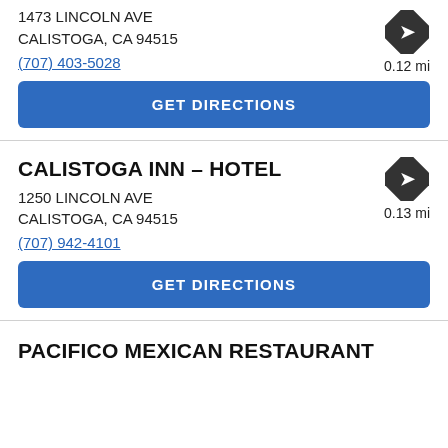1473 LINCOLN AVE
CALISTOGA, CA 94515
(707) 403-5028
0.12 mi
GET DIRECTIONS
CALISTOGA INN – HOTEL
1250 LINCOLN AVE
CALISTOGA, CA 94515
(707) 942-4101
0.13 mi
GET DIRECTIONS
PACIFICO MEXICAN RESTAURANT